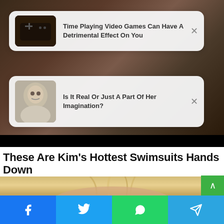[Figure (screenshot): Dark background photo visible behind notification cards (people playing video games / person photo)]
Time Playing Video Games Can Have A Detrimental Effect On You
Is It Real Or Just A Part Of Her Imagination?
These Are Kim's Hottest Swimsuits Hands Down
TRAITSLAB
[Figure (photo): Blond woman hair photo strip]
Facebook Twitter WhatsApp Telegram share buttons